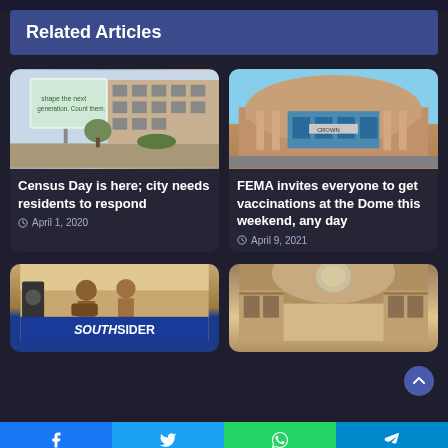Related Articles
[Figure (photo): Outdoor billboard showing census advertisement with parking garage in background]
Census Day is here; city needs residents to respond
April 1, 2020
[Figure (photo): FEMA vaccination site at a large domed civic building]
FEMA invites everyone to get vaccinations at the Dome this weekend, any day
April 9, 2021
[Figure (photo): Two musicians on stage with SOUTHSIDER banner]
[Figure (photo): Interior of historic building with arched ceiling and galleries]